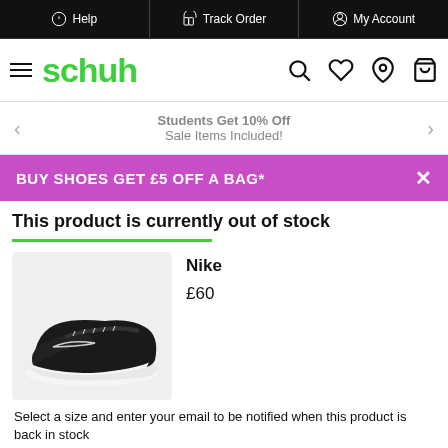Help | Track Order | My Account
schuh
Students Get 10% Off
Sale Items Included!
BUY SHOES GET £5 OFF A BAG*
This product is currently out of stock
Nike
£60
[Figure (photo): Black Nike low-top sneaker/skate shoe with white sole and small Nike swoosh logo on side]
Select a size and enter your email to be notified when this product is back in stock